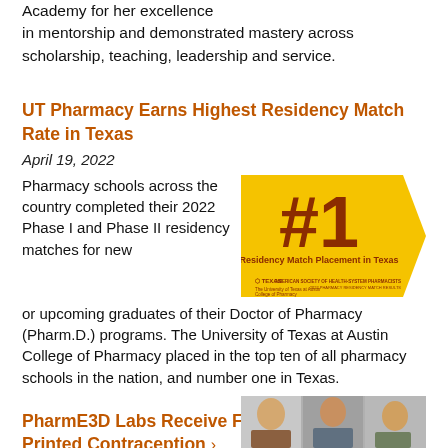Academy for her excellence in mentorship and demonstrated mastery across scholarship, teaching, leadership and service.
UT Pharmacy Earns Highest Residency Match Rate in Texas
April 19, 2022
Pharmacy schools across the country completed their 2022 Phase I and Phase II residency matches for new or upcoming graduates of their Doctor of Pharmacy (Pharm.D.) programs. The University of Texas at Austin College of Pharmacy placed in the top ten of all pharmacy schools in the nation, and number one in Texas.
[Figure (infographic): #1 Residency Match Placement in Texas badge — yellow chevron shape with large #1 in dark brown, subtitle 'Residency Match Placement in Texas', UT Texas logo and ASHP branding at bottom]
PharmE3D Labs Receive Federal Funding for 3D Printed Contraception
March 14, 2022
[Figure (photo): Photo of people in a lab setting, partially visible at bottom right of page]